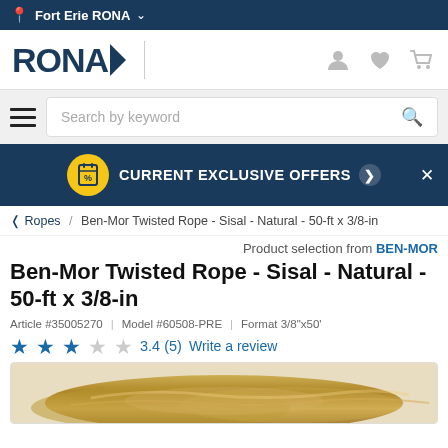Fort Erie RONA
[Figure (logo): RONA logo with dark blue text and arrow, plus user/wishlist/cart icons]
Search by keyword
CURRENT EXCLUSIVE OFFERS
< Ropes / Ben-Mor Twisted Rope - Sisal - Natural - 50-ft x 3/8-in
Product selection from BEN-MOR
Ben-Mor Twisted Rope - Sisal - Natural - 50-ft x 3/8-in
Article #35005270  |  Model #60508-PRE  |  Format 3/8"x50'
3.4 (5)  Write a review
[Figure (photo): Sisal twisted rope coil in natural golden-brown color]